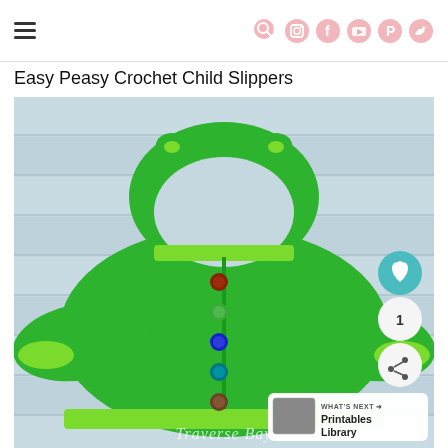Easy Peasy Crochet Child Slippers — website header with hamburger menu and social icons
Easy Peasy Crochet Child Slippers
[Figure (photo): A green crocheted hooded baby/child cardigan sweater with light green trim and colorful buttons, laid flat on a light blue wooden plank background. The item has a hood at the top, long sleeves, and several colorful buttons down the front. A small thumbnail image and 'WHAT'S NEXT → Printables Library' banner appears in the bottom right corner. The text 'Traverse Bay' appears as a watermark in the lower center of the image.]